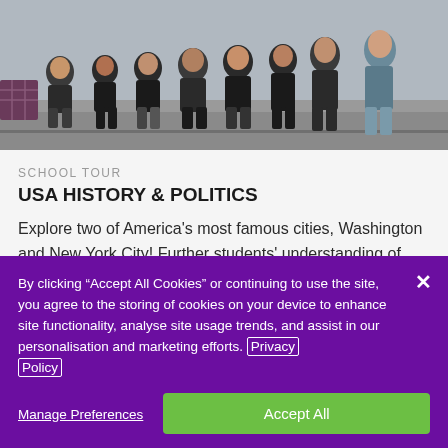[Figure (photo): Group photo of school students sitting on steps, dressed in matching dark jackets]
SCHOOL TOUR
USA HISTORY & POLITICS
Explore two of America's most famous cities, Washington and New York City! Further students' understanding of history and politics in the US, and its
By clicking “Accept All Cookies” or continuing to use the site, you agree to the storing of cookies on your device to enhance site functionality, analyse site usage trends, and assist in our personalisation and marketing efforts. Privacy Policy
Manage Preferences
Accept All